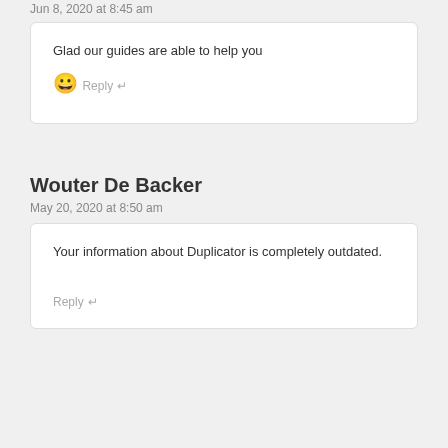Jun 8, 2020 at 8:45 am
Glad our guides are able to help you 😀
Reply ↵
Wouter De Backer
May 20, 2020 at 8:50 am
Your information about Duplicator is completely outdated.
Reply ↵